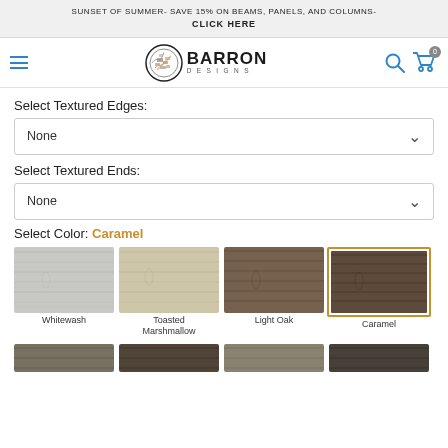SUNSET OF SUMMER- SAVE 15% ON BEAMS, PANELS, AND COLUMNS- CLICK HERE
[Figure (logo): Barron Designs logo with circular emblem and brand name]
Select Textured Edges:
None
Select Textured Ends:
None
Select Color: Caramel
[Figure (illustration): Color swatches: Whitewash, Toasted Marshmallow, Light Oak, Caramel (selected, with gold border), and four more partial swatches at bottom]
Whitewash
Toasted Marshmallow
Light Oak
Caramel